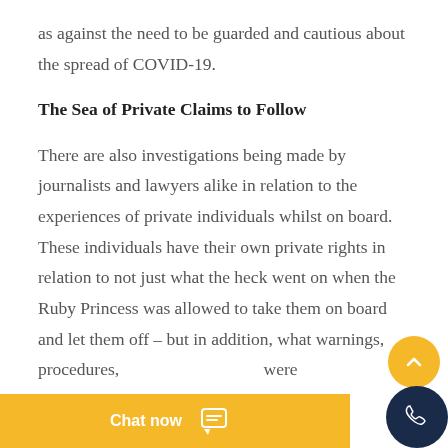as against the need to be guarded and cautious about the spread of COVID-19.
The Sea of Private Claims to Follow
There are also investigations being made by journalists and lawyers alike in relation to the experiences of private individuals whilst on board. These individuals have their own private rights in relation to not just what the heck went on when the Ruby Princess was allowed to take them on board and let them off – but in addition, what warnings, procedures,  were